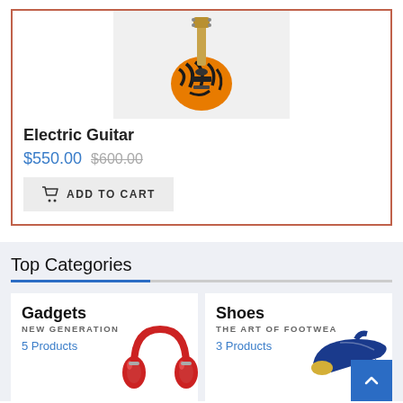[Figure (photo): Tiger-striped electric guitar on light gray background]
Electric Guitar
$550.00 $600.00
ADD TO CART
Top Categories
Gadgets
NEW GENERATION
5 Products
Shoes
THE ART OF FOOTWEAR
3 Products